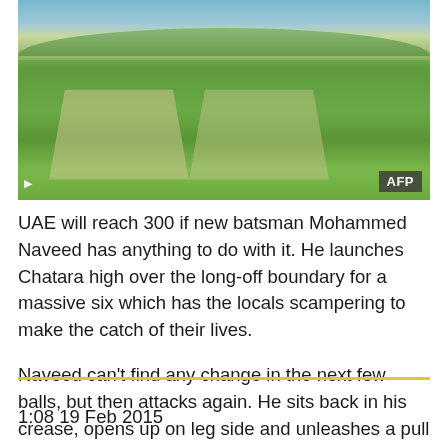[Figure (photo): Cricket match at a stadium with players on a green pitch, spectators in the stands, hills in the background. AFP watermark badge in bottom right.]
UAE will reach 300 if new batsman Mohammed Naveed has anything to do with it. He launches Chatara high over the long-off boundary for a massive six which has the locals scampering to make the catch of their lives.
Naveed can't find any change in the next few balls, but then attacks again. He sits back in his crease, opens up on leg side and unleashes a pull which again goes for six.
1:08 19 Feb 2015